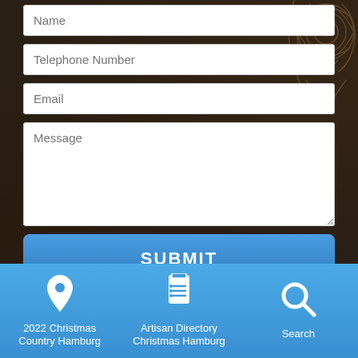[Figure (screenshot): Contact form with Name, Telephone Number, Email, Message fields and SUBMIT button on dark wood background]
Premier Promotions Inc. | 5016 Oleander Drive, Wilmington, NC
2022 Christmas Country Hamburg
Artisan Directory Christmas Hamburg
Search